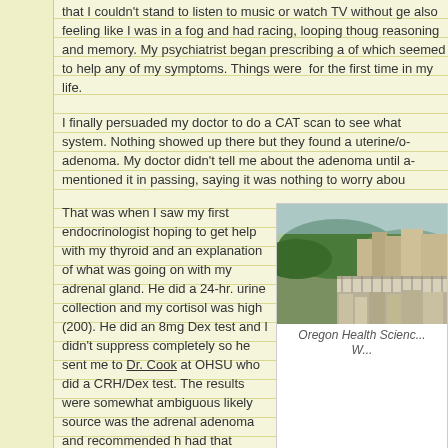that I couldn't stand to listen to music or watch TV without ge... also feeling like I was in a fog and had racing, looping thoug... reasoning and memory. My psychiatrist began prescribing a... of which seemed to help any of my symptoms. Things were... for the first time in my life.
I finally persuaded my doctor to do a CAT scan to see what... system. Nothing showed up there but they found a uterine/o... adenoma. My doctor didn't tell me about the adenoma until a... mentioned it in passing, saying it was nothing to worry abou...
That was when I saw my first endocrinologist hoping to get help with my thyroid and an explanation of what was going on with my adrenal gland. He did a 24-hr. urine collection and my cortisol was high (200). He did an 8mg Dex test and I didn't suppress completely so he sent me to Dr. Cook at OHSU who did a CRH/Dex test. The results were somewhat ambiguous... likely source was the adrenal adenoma and recommended h... had that surgery in December of 2004. The day of the surc...
[Figure (photo): Aerial or elevated view of Oregon Health Sciences University (OHSU) campus and surrounding city/buildings]
Oregon Health Scienc... W...